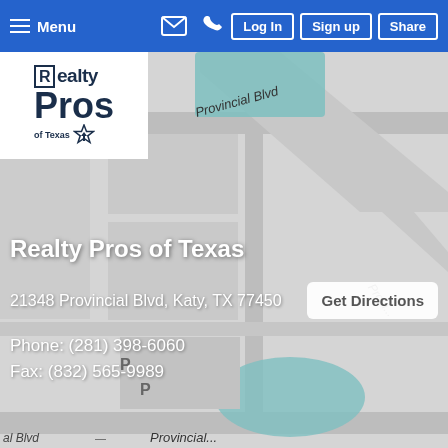Menu | Log In | Sign up | Share
[Figure (logo): Realty Pros of Texas logo — dark navy text, star graphic]
[Figure (map): Google Maps view centered on 21348 Provincial Blvd, Katy, TX 77450, showing surrounding streets including Provincial Blvd and parking areas]
Realty Pros of Texas
21348 Provincial Blvd, Katy, TX 77450
Get Directions
Phone: (281) 398-6060
Fax: (832) 565-9989